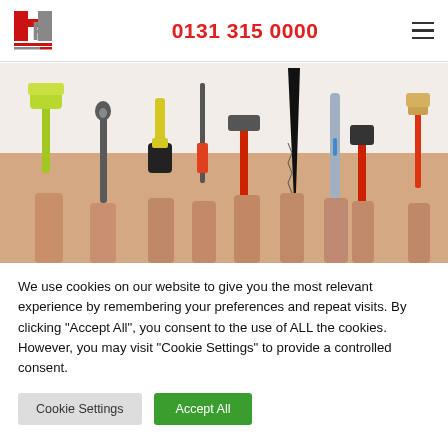[Figure (logo): HF logo with red H and grey F letters, red and grey horizontal bars below]
0131 315 0000
[Figure (photo): Multiple hands holding up various tools including paint roller, wrench, drill, screwdriver, hammer, saw, level, clamps, and paintbrush against a white background]
We use cookies on our website to give you the most relevant experience by remembering your preferences and repeat visits. By clicking "Accept All", you consent to the use of ALL the cookies. However, you may visit "Cookie Settings" to provide a controlled consent.